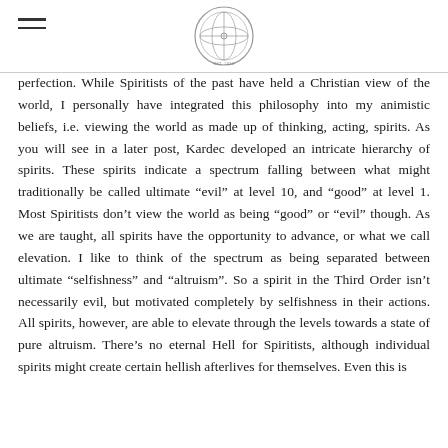[Logo: circular emblem with cross/globe motif]
perfection. While Spiritists of the past have held a Christian view of the world, I personally have integrated this philosophy into my animistic beliefs, i.e. viewing the world as made up of thinking, acting, spirits. As you will see in a later post, Kardec developed an intricate hierarchy of spirits. These spirits indicate a spectrum falling between what might traditionally be called ultimate “evil” at level 10, and “good” at level 1. Most Spiritists don’t view the world as being “good” or “evil” though. As we are taught, all spirits have the opportunity to advance, or what we call elevation. I like to think of the spectrum as being separated between ultimate “selfishness” and “autruism”. So a spirit in the Third Order isn’t necessarily evil, but motivated completely by selfishness in their actions. All spirits, however, are able to elevate through the levels towards a state of pure altruism. There’s no eternal Hell for Spiritists, although individual spirits might create certain hellish afterlives for themselves. Even this is